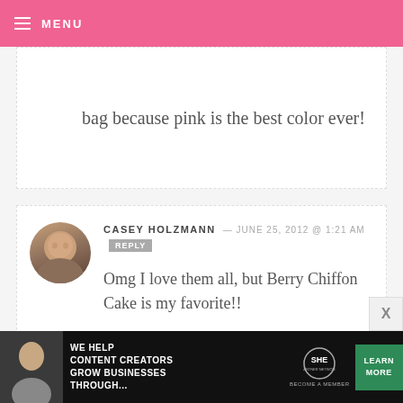MENU
bag because pink is the best color ever!
CASEY HOLZMANN — JUNE 25, 2012 @ 1:21 AM REPLY
Omg I love them all, but Berry Chiffon Cake is my favorite!!
SHANNON WIEDENER — JUNE 25, 2012 @ 1:21 AM REPLY
Black Forest Cake! (And I'm totally
[Figure (infographic): SHE Partner Network advertisement banner: WE HELP CONTENT CREATORS GROW BUSINESSES THROUGH... LEARN MORE / BECOME A MEMBER]